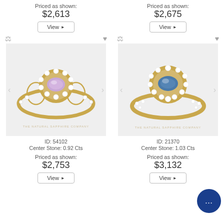Priced as shown:
$2,613
View
Priced as shown:
$2,675
View
[Figure (photo): Gold ring with purple/lavender sapphire center stone surrounded by diamond halo in vintage filigree setting]
ID: 54102
Center Stone: 0.92 Cts
Priced as shown:
$2,753
View
[Figure (photo): Gold ring with blue sapphire center stone surrounded by diamond halo in classic setting]
ID: 21370
Center Stone: 1.03 Cts
Priced as shown:
$3,132
View